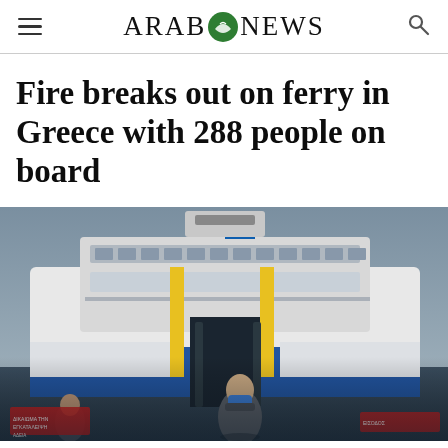ARAB NEWS
Fire breaks out on ferry in Greece with 288 people on board
[Figure (photo): A large ferry ship docked at a Greek port. A man wearing a blue face mask stands in front of the ferry's open loading ramp. The ferry is predominantly white and blue. A Greek flag is visible on top of the vessel. Other people and protest banners are visible in the background.]